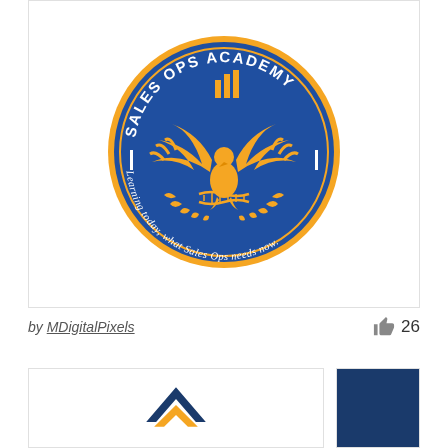[Figure (logo): Sales Ops Academy circular badge logo. Blue circle with orange border. Orange phoenix/eagle with spread wings at center, bar chart above it, DNA helix and laurel wreath decoration. Text 'SALES OPS ACADEMY' arcs along the top inside the circle. Text 'Learning today, what Sales Ops needs now.' arcs along the bottom inside the circle.]
by MDigitalPixels
26
[Figure (logo): Partial logo visible at bottom left, appears to show a chevron/arrow shape in navy blue and yellow/gold colors.]
[Figure (illustration): Dark navy blue rectangle, partial view at bottom right of page.]